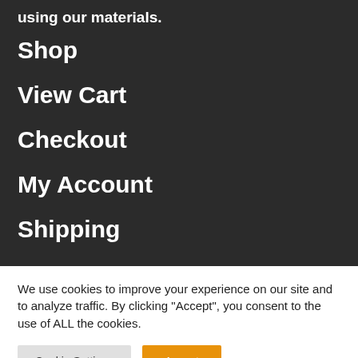using our materials.
Shop
View Cart
Checkout
My Account
Shipping
We use cookies to improve your experience on our site and to analyze traffic. By clicking “Accept”, you consent to the use of ALL the cookies.
Cookie Settings | Accept
[Figure (infographic): Orange social media footer bar with icons for Pinterest, Facebook, Instagram, Twitter, Email, and LinkedIn]